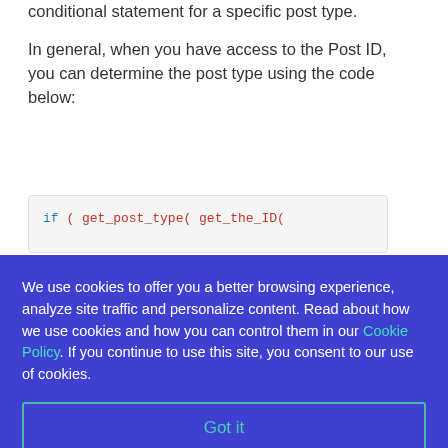conditional statement for a specific post type.
In general, when you have access to the Post ID, you can determine the post type using the code below:
We use cookies to offer you a better browsing experience, analyze site traffic and personalize content. Read about how we use cookies and how you can control them in our Cookie Policy. If you continue to use this site, you consent to our use of cookies.
Got it